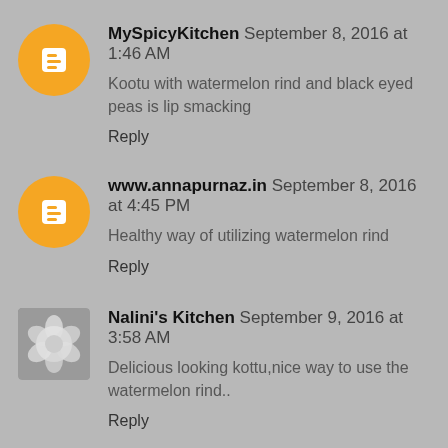MySpicyKitchen September 8, 2016 at 1:46 AM
Kootu with watermelon rind and black eyed peas is lip smacking
Reply
www.annapurnaz.in September 8, 2016 at 4:45 PM
Healthy way of utilizing watermelon rind
Reply
Nalini's Kitchen September 9, 2016 at 3:58 AM
Delicious looking kottu,nice way to use the watermelon rind..
Reply
Kalyani September 9, 2016 at 5:31 AM